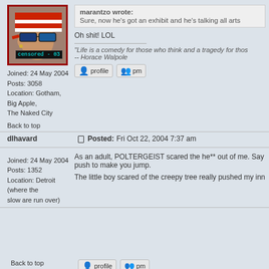[Figure (photo): User avatar photo of a person wearing patriotic red/white/blue sunglasses with 'censored - 03' text overlay]
Joined: 24 May 2004
Posts: 3058
Location: Gotham, Big Apple, The Naked City
Back to top
marantzo wrote:
Sure, now he's got an exhibit and he's talking all arts
Oh shit! LOL
"Life is a comedy for those who think and a tragedy for those
-- Horace Walpole
dlhavard
Posted: Fri Oct 22, 2004 7:37 am
Joined: 24 May 2004
Posts: 1352
Location: Detroit (where the slow are run over)
As an adult, POLTERGEIST scared the he** out of me. Say
push to make you jump.
The little boy scared of the creepy tree really pushed my inn
Back to top